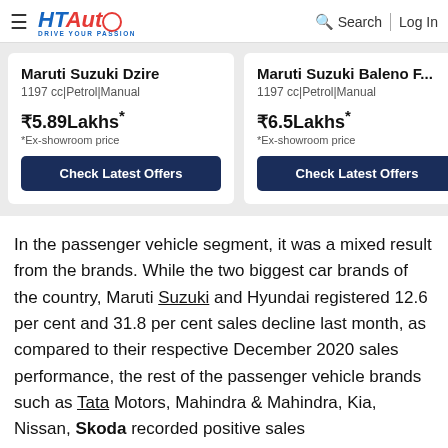HT Auto — Drive Your Passion | Search | Log In
Maruti Suzuki Dzire
1197 cc|Petrol|Manual
₹5.89Lakhs*
*Ex-showroom price
Check Latest Offers
Maruti Suzuki Baleno F...
1197 cc|Petrol|Manual
₹6.5Lakhs*
*Ex-showroom price
Check Latest Offers
In the passenger vehicle segment, it was a mixed result from the brands. While the two biggest car brands of the country, Maruti Suzuki and Hyundai registered 12.6 per cent and 31.8 per cent sales decline last month, as compared to their respective December 2020 sales performance, the rest of the passenger vehicle brands such as Tata Motors, Mahindra & Mahindra, Kia, Nissan, Skoda recorded positive sales